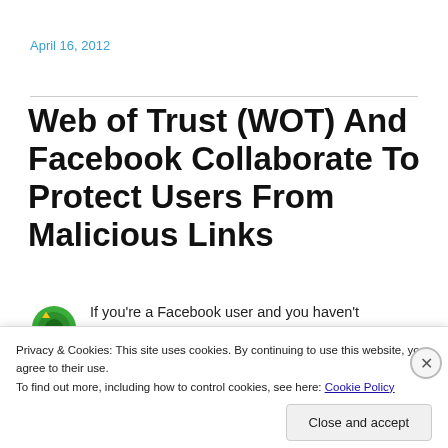April 16, 2012
Web of Trust (WOT) And Facebook Collaborate To Protect Users From Malicious Links
If you're a Facebook user and you haven't
Privacy & Cookies: This site uses cookies. By continuing to use this website, you agree to their use.
To find out more, including how to control cookies, see here: Cookie Policy
Close and accept